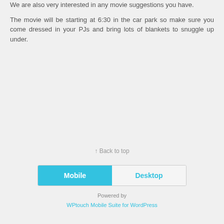We are also very interested in any movie suggestions you have.
The movie will be starting at 6:30 in the car park so make sure you come dressed in your PJs and bring lots of blankets to snuggle up under.
↑ Back to top
[Figure (other): Mobile/Desktop toggle button bar with Mobile selected (blue) and Desktop unselected]
Powered by
WPtouch Mobile Suite for WordPress